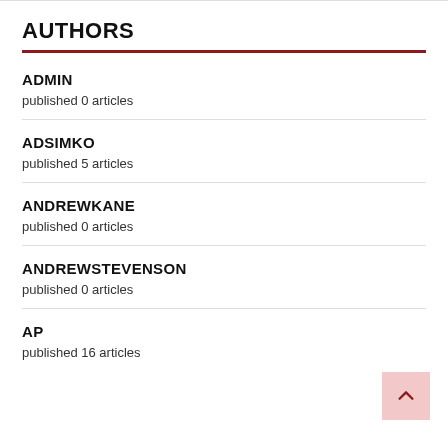AUTHORS
ADMIN
published 0 articles
ADSIMKO
published 5 articles
ANDREWKANE
published 0 articles
ANDREWSTEVENSON
published 0 articles
AP
published 16 articles